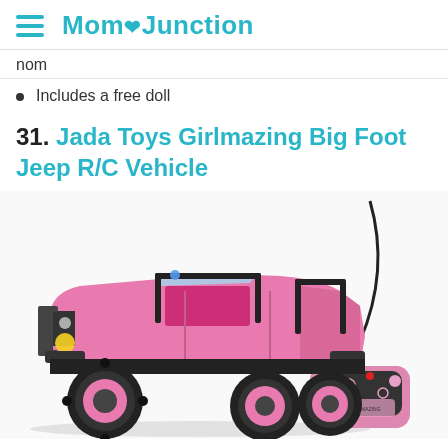Mom Junction
nom
Includes a free doll
31. Jada Toys Girlmazing Big Foot Jeep R/C Vehicle
[Figure (photo): A pink Jada Toys Girlmazing Big Foot Jeep R/C Vehicle with large black tires and pink rims, shown alongside its pink and black remote controller with a cord.]